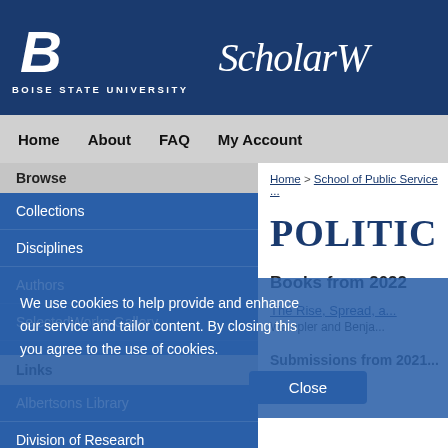BOISE STATE UNIVERSITY ScholarW...
Home  About  FAQ  My Account
Browse
Collections
Disciplines
Authors
SelectedWorks Gallery
Links
Albertsons Library
Division of Research
Graduate College
Search
We use cookies to help provide and enhance our service and tailor content. By closing this you agree to the use of cookies.
Close
Home > School of Public Service ...
POLITIC...
Books from 2022
The Rise, Spread, a...
Wampler and Benja...
Submissions from 2021...